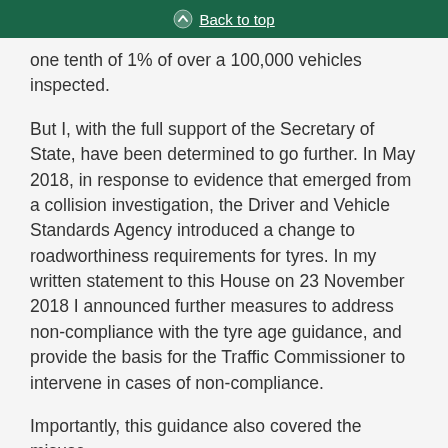Back to top
one tenth of 1% of over a 100,000 vehicles inspected.
But I, with the full support of the Secretary of State, have been determined to go further. In May 2018, in response to evidence that emerged from a collision investigation, the Driver and Vehicle Standards Agency introduced a change to roadworthiness requirements for tyres. In my written statement to this House on 23 November 2018 I announced further measures to address non-compliance with the tyre age guidance, and provide the basis for the Traffic Commissioner to intervene in cases of non-compliance.
Importantly, this guidance also covered the misuse